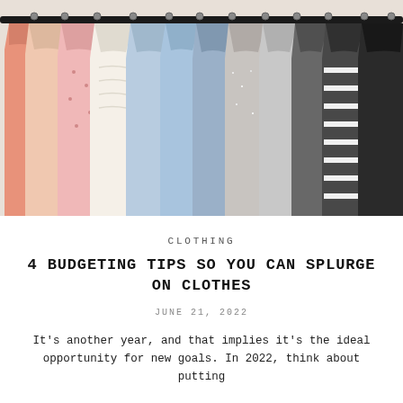[Figure (photo): A neatly organized clothing rack with garments hanging on black hangers, arranged from warm tones (peach, pink) on the left to cool tones (light blue, grey, black) on the right.]
CLOTHING
4 BUDGETING TIPS SO YOU CAN SPLURGE ON CLOTHES
JUNE 21, 2022
It's another year, and that implies it's the ideal opportunity for new goals. In 2022, think about putting